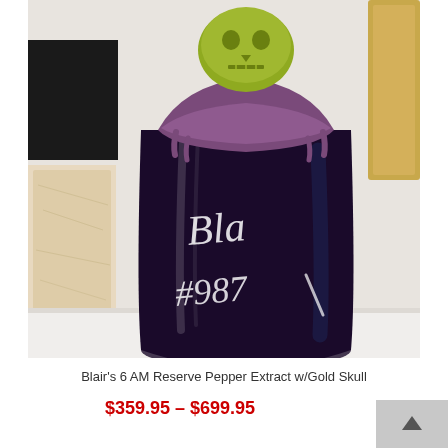[Figure (photo): Close-up photo of Blair's 6 AM Reserve Pepper Extract bottle with Gold Skull. The bottle is dark purple/black with a purple wax top and a green/yellow skull stopper. The bottle is signed 'Bla' in white script and numbered '#987' in white. Other bottles are visible in the background.]
Blair's 6 AM Reserve Pepper Extract w/Gold Skull
$359.95 – $699.95